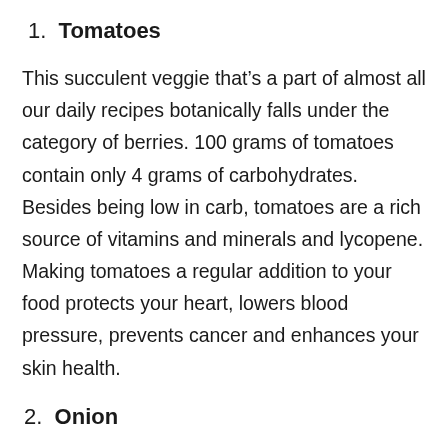1. Tomatoes
This succulent veggie that’s a part of almost all our daily recipes botanically falls under the category of berries. 100 grams of tomatoes contain only 4 grams of carbohydrates. Besides being low in carb, tomatoes are a rich source of vitamins and minerals and lycopene. Making tomatoes a regular addition to your food protects your heart, lowers blood pressure, prevents cancer and enhances your skin health.
2. Onion